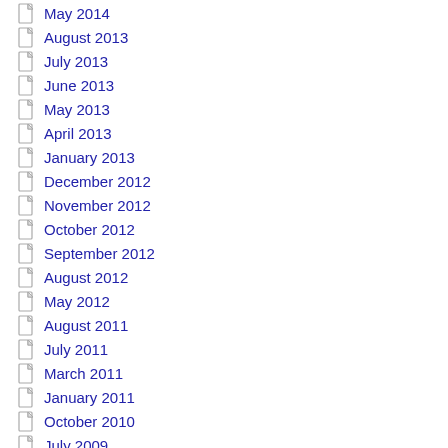May 2014
August 2013
July 2013
June 2013
May 2013
April 2013
January 2013
December 2012
November 2012
October 2012
September 2012
August 2012
May 2012
August 2011
July 2011
March 2011
January 2011
October 2010
July 2009